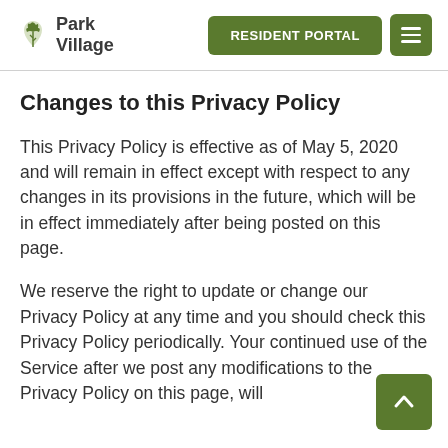Park Village — RESIDENT PORTAL navigation header
Changes to this Privacy Policy
This Privacy Policy is effective as of May 5, 2020 and will remain in effect except with respect to any changes in its provisions in the future, which will be in effect immediately after being posted on this page.
We reserve the right to update or change our Privacy Policy at any time and you should check this Privacy Policy periodically. Your continued use of the Service after we post any modifications to the Privacy Policy on this page, will